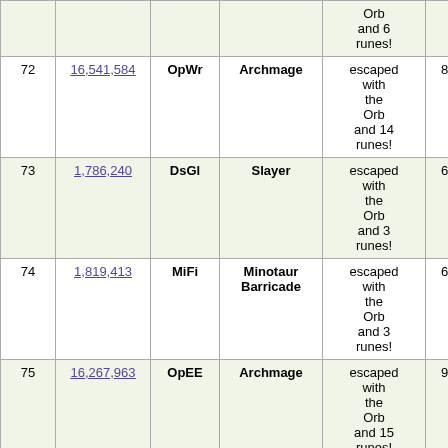| # | Score | Char | Title | Outcome | Turns | Duration |  |
| --- | --- | --- | --- | --- | --- | --- | --- |
|  |  |  |  | Orb and 6 runes! |  |  |  |
| 72 | 16,541,584 | OpWr | Archmage | escaped with the Orb and 14 runes! | 83,391 | 07:30:13 | V |
| 73 | 1,786,240 | DsGl | Slayer | escaped with the Orb and 3 runes! | 66,562 | 03:07:15 | D |
| 74 | 1,819,413 | MiFi | Minotaur Barricade | escaped with the Orb and 3 runes! | 62,578 | 02:30:28 | F |
| 75 | 16,267,963 | OpEE | Archmage | escaped with the Orb and 15 runes! | 98,288 | 10:50:18 | S |
| 76 | 15,951,899 | OpHu | Conqueror | escaped with the Orb and 15 runes! | 98,182 | 05:45:50 | F |